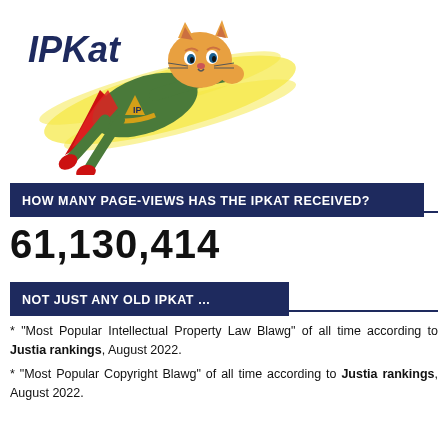[Figure (logo): IPKat logo: cartoon cat in superhero costume flying, with 'IPKat' text and yellow speed lines]
HOW MANY PAGE-VIEWS HAS THE IPKAT RECEIVED?
61,130,414
NOT JUST ANY OLD IPKAT …
* "Most Popular Intellectual Property Law Blawg" of all time according to Justia rankings, August 2022.
* "Most Popular Copyright Blawg" of all time according to Justia rankings, August 2022.